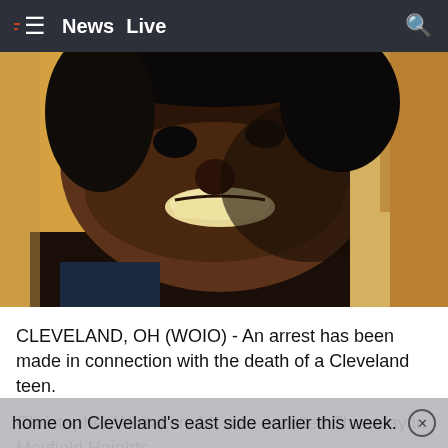≡  News  Live  🔍
[Figure (photo): Close-up photo of a smiling young person, low-light indoor setting]
CLEVELAND, OH (WOIO) - An arrest has been made in connection with the death of a Cleveland teen.
Christopher Whitaker, 44, was arrested Thursday in Mayfield Heights.
Alianna DeFreeze, 14, was found dead in an abandon home on Cleveland's east side earlier this week.